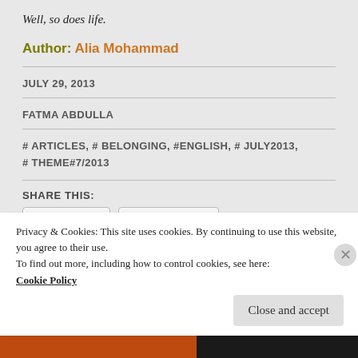Well, so does life.
Author: Alia Mohammad
JULY 29, 2013
FATMA ABDULLA
# ARTICLES, # BELONGING, #ENGLISH, # JULY2013, # THEME#7/2013
SHARE THIS:
TWITTER   FACEBOOK
Privacy & Cookies: This site uses cookies. By continuing to use this website, you agree to their use.
To find out more, including how to control cookies, see here:
Cookie Policy
Close and accept